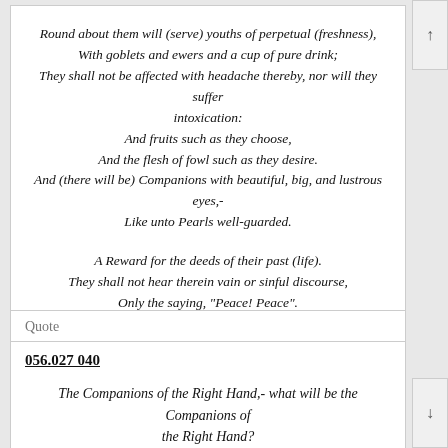Round about them will (serve) youths of perpetual (freshness),
With goblets and ewers and a cup of pure drink;
They shall not be affected with headache thereby, nor will they suffer intoxication:
And fruits such as they choose,
And the flesh of fowl such as they desire.
And (there will be) Companions with beautiful, big, and lustrous eyes,-
Like unto Pearls well-guarded.

A Reward for the deeds of their past (life).
They shall not hear therein vain or sinful discourse,
Only the saying, "Peace! Peace".
End quote
Quote
056.027 040
The Companions of the Right Hand,- what will be the Companions of the Right Hand?